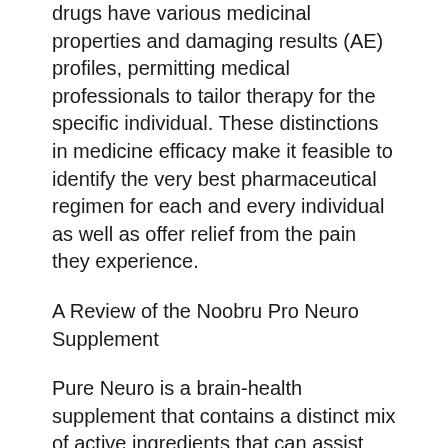drugs have various medicinal properties and damaging results (AE) profiles, permitting medical professionals to tailor therapy for the specific individual. These distinctions in medicine efficacy make it feasible to identify the very best pharmaceutical regimen for each and every individual as well as offer relief from the pain they experience.
A Review of the Noobru Pro Neuro Supplement
Pure Neuro is a brain-health supplement that contains a distinct mix of active ingredients that can assist enhance mind feature. The mix includes Ginseng, a all-natural anti-aging natural herb, and other natural herbs known to promote health. Ginseng is one of the...